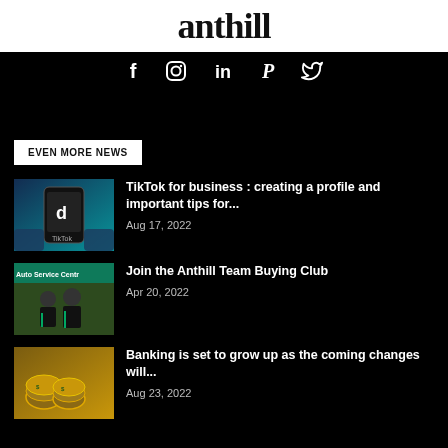anthill
[Figure (other): Social media icons: Facebook, Instagram, LinkedIn, Pinterest, Twitter on black background]
EVEN MORE NEWS
[Figure (photo): TikTok app logo on a phone screen with hand holding the phone]
TikTok for business : creating a profile and important tips for...
Aug 17, 2022
[Figure (photo): Auto Service Centre sign with two men in black uniforms standing in front]
Join the Anthill Team Buying Club
Apr 20, 2022
[Figure (photo): Rolled US dollar bills]
Banking is set to grow up as the coming changes will...
Aug 23, 2022